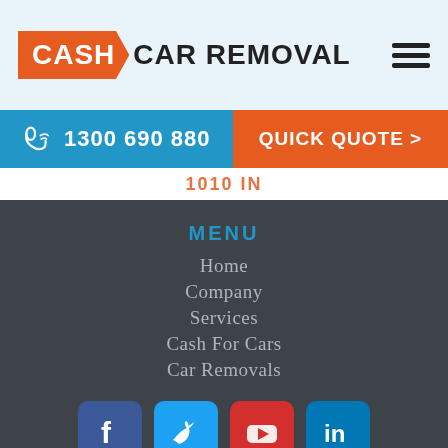[Figure (logo): Cash Car Removal logo with orange arrow-shaped CASH badge and bold black text CAR REMOVAL]
[Figure (other): Hamburger menu icon with three horizontal black lines]
1300 690 880
QUICK QUOTE >
MENU
Home
Company
Services
Cash For Cars
Car Removals
[Figure (other): Social media icons row: Facebook (blue), Twitter (light blue), YouTube (red), LinkedIn (blue)]